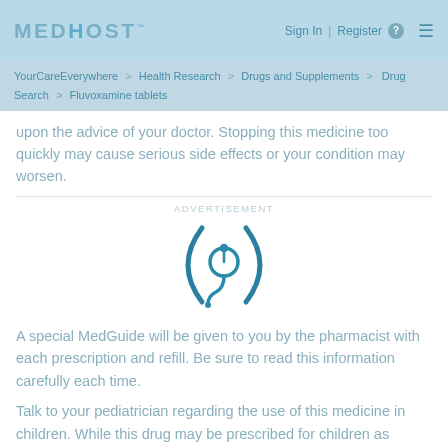MEDHOST | Sign In | Register | ≡
YourCareEverywhere > Health Research > Drugs and Supplements > Drug Search > Fluvoxamine tablets
upon the advice of your doctor. Stopping this medicine too quickly may cause serious side effects or your condition may worsen.
ADVERTISEMENT
[Figure (illustration): Circular stethoscope icon with parentheses forming a circular bracket shape around it, in teal/dark blue color]
A special MedGuide will be given to you by the pharmacist with each prescription and refill. Be sure to read this information carefully each time.
Talk to your pediatrician regarding the use of this medicine in children. While this drug may be prescribed for children as young as 8 years for selected conditions, precautions do apply.
What side effects may I notice